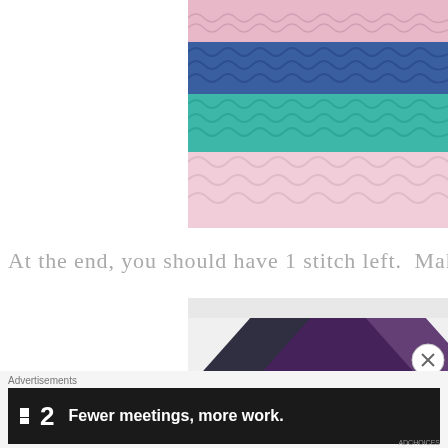[Figure (photo): Close-up photo of crochet stitches in stripes of pink, blue, teal, and light pink yarn]
At the end, you should have 1 stitch left.  Make a hd
[Figure (photo): Photo of dark purple/black scissors or fabric on white background]
Advertisements
[Figure (other): Advertisement banner: Planful logo (square icon + '2') with text 'Fewer meetings, more work.']